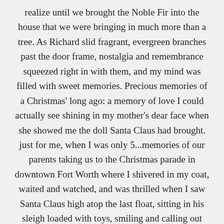realize until we brought the Noble Fir into the house that we were bringing in much more than a tree. As Richard slid fragrant, evergreen branches past the door frame, nostalgia and remembrance squeezed right in with them, and my mind was filled with sweet memories. Precious memories of a Christmas' long ago: a memory of love I could actually see shining in my mother's dear face when she showed me the doll Santa Claus had brought. just for me, when I was only 5...memories of our parents taking us to the Christmas parade in downtown Fort Worth where I shivered in my coat, waited and watched, and was thrilled when I saw Santa Claus high atop the last float, sitting in his sleigh loaded with toys, smiling and calling out